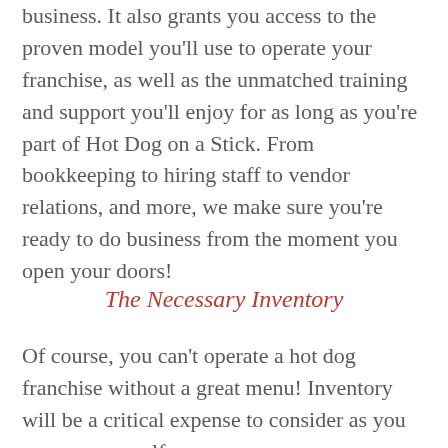business. It also grants you access to the proven model you'll use to operate your franchise, as well as the unmatched training and support you'll enjoy for as long as you're part of Hot Dog on a Stick. From bookkeeping to hiring staff to vendor relations, and more, we make sure you're ready to do business from the moment you open your doors!
The Necessary Inventory
Of course, you can't operate a hot dog franchise without a great menu! Inventory will be a critical expense to consider as you prepare yourself